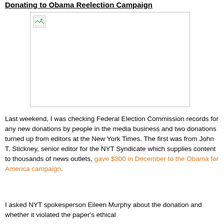Donating to Obama Reelection Campaign
[Figure (photo): Broken/unloaded image placeholder with gray border]
Last weekend, I was checking Federal Election Commission records for any new donations by people in the media business and two donations turned up from editors at the New York Times. The first was from John T. Stickney, senior editor for the NYT Syndicate which supplies content to thousands of news outlets, gave $300 in December to the Obama for America campaign.
I asked NYT spokesperson Eileen Murphy about the donation and whether it violated the paper's ethical